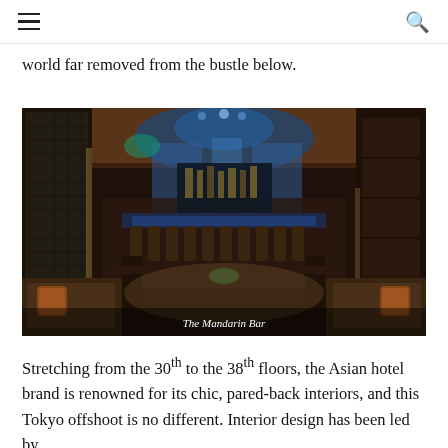≡  🔍
world far removed from the bustle below.
[Figure (photo): Interior of The Mandarin Bar: a luxurious dimly lit bar with blue ambient lighting, a long central bar counter with high stools, ornate tiled wall on the left, wood-paneled ceiling, and lounge seating in the foreground with decorative pillows. Caption reads 'The Mandarin Bar'.]
The Mandarin Bar
Stretching from the 30th to the 38th floors, the Asian hotel brand is renowned for its chic, pared-back interiors, and this Tokyo offshoot is no different. Interior design has been led by